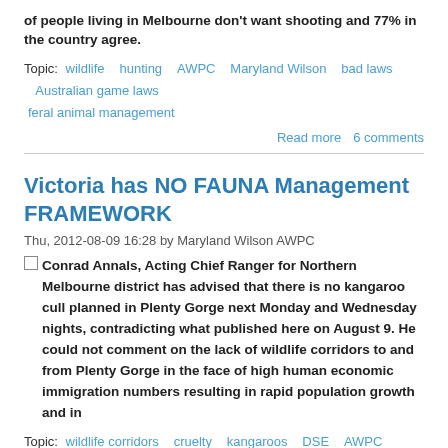of people living in Melbourne don't want shooting and 77% in the country agree.
Topic: wildlife   hunting   AWPC   Maryland Wilson   bad laws   Australian game laws   feral animal management
Read more   6 comments
Victoria has NO FAUNA Management FRAMEWORK
Thu, 2012-08-09 16:28 by Maryland Wilson AWPC
Conrad Annals, Acting Chief Ranger for Northern Melbourne district has advised that there is no kangaroo cull planned in Plenty Gorge next Monday and Wednesday nights, contradicting what published here on August 9. He could not comment on the lack of wildlife corridors to and from Plenty Gorge in the face of high human economic immigration numbers resulting in rapid population growth and in
Topic: wildlife corridors   cruelty   kangaroos   DSE   AWPC   kangaroo culls   Plenty Gorge
Read more   4 comments